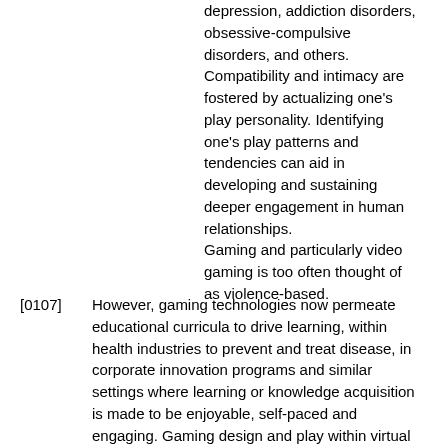depression, addiction disorders, obsessive-compulsive disorders, and others. Compatibility and intimacy are fostered by actualizing one's play personality. Identifying one's play patterns and tendencies can aid in developing and sustaining deeper engagement in human relationships. Gaming and particularly video gaming is too often thought of as violence-based.
[0107] However, gaming technologies now permeate educational curricula to drive learning, within health industries to prevent and treat disease, in corporate innovation programs and similar settings where learning or knowledge acquisition is made to be enjoyable, self-paced and engaging. Gaming design and play within virtual worlds can be harmonized with, and grounded in, the human biological drive to play through the actualizing